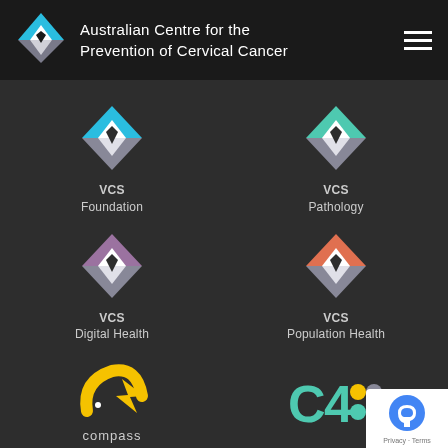Australian Centre for the Prevention of Cervical Cancer
[Figure (logo): VCS Foundation logo - diamond shape with blue top and grey bottom, white chevron inside]
VCS
Foundation
[Figure (logo): VCS Pathology logo - diamond shape with teal/mint color and white chevron inside]
VCS
Pathology
[Figure (logo): VCS Digital Health logo - diamond shape with purple/mauve color and white chevron inside]
VCS
Digital Health
[Figure (logo): VCS Population Health logo - diamond shape with orange/coral color and white chevron inside]
VCS
Population Health
[Figure (logo): Compass logo - yellow arrow/chevron with star, compass text below]
[Figure (logo): C4 logo with colored dots in teal, yellow, grey and blue]